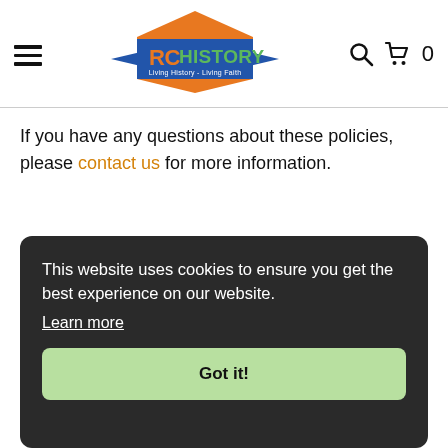[Figure (logo): RC History logo with orange diamond shape, blue banner ribbon, orange 'RC' text and green 'HISTORY' text, tagline 'Living History - Living Faith']
If you have any questions about these policies, please contact us for more information.
This website uses cookies to ensure you get the best experience on our website. Learn more
Got it!